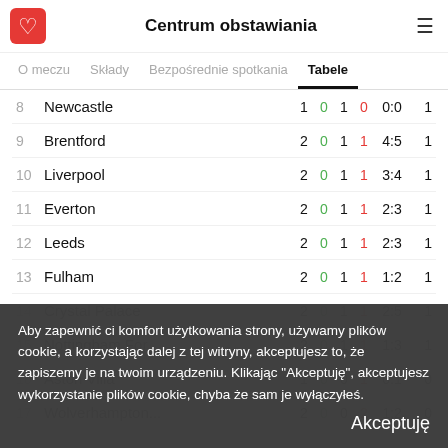Centrum obstawiania
O meczu   Składy   Bezpośrednie spotkania   Tabele
| # | Team | P | W | D | L | Score | Pts |
| --- | --- | --- | --- | --- | --- | --- | --- |
| 8 | Newcastle | 1 | 0 | 1 | 0 | 0:0 | 1 |
| 9 | Brentford | 2 | 0 | 1 | 1 | 4:5 | 1 |
| 10 | Liverpool | 2 | 0 | 1 | 1 | 3:4 | 1 |
| 11 | Everton | 2 | 0 | 1 | 1 | 2:3 | 1 |
| 12 | Leeds | 2 | 0 | 1 | 1 | 2:3 | 1 |
| 13 | Fulham | 2 | 0 | 1 | 1 | 1:2 | 1 |
| 14 | Crystal Palace | 2 | 0 | 1 | 1 | 2:5 | 1 |
| 15 | Nottingham For. | 2 | 0 | 1 | 1 | 1:3 | 1 |
| 16 | Aston Villa | 1 | 0 | 0 | 1 | 0:1 | 0 |
| 17 | Wolverhampton... | 2 | 0 | 0 | 2 | 1:2 | 0 |
Aby zapewnić ci komfort użytkowania strony, używamy plików cookie, a korzystając dalej z tej witryny, akceptujesz to, że zapiszemy je na twoim urządzeniu. Klikając "Akceptuję", akceptujesz wykorzystanie plików cookie, chyba że sam je wyłączyłeś.